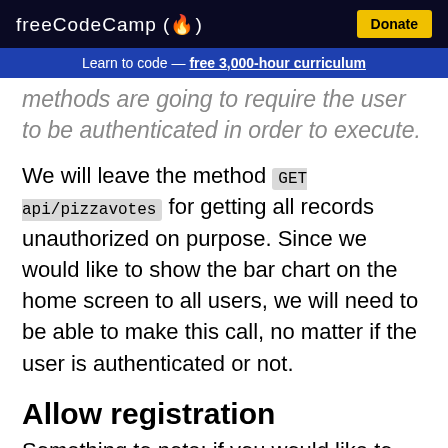freeCodeCamp(🔥)  Donate
Learn to code — free 3,000-hour curriculum
methods are going to require the user to be authenticated in order to execute.
We will leave the method GET api/pizzavotes for getting all records unauthorized on purpose. Since we would like to show the bar chart on the home screen to all users, we will need to be able to make this call, no matter if the user is authenticated or not.
Allow registration
Something to note: if you would like to have a